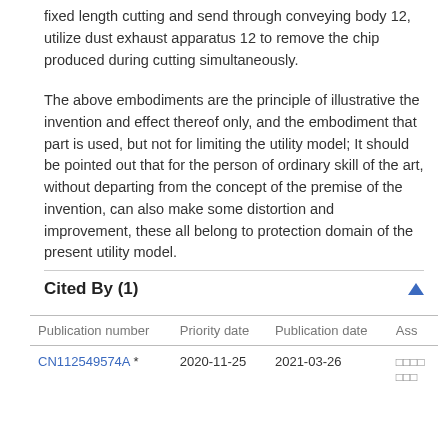fixed length cutting and send through conveying body 12, utilize dust exhaust apparatus 12 to remove the chip produced during cutting simultaneously.
The above embodiments are the principle of illustrative the invention and effect thereof only, and the embodiment that part is used, but not for limiting the utility model; It should be pointed out that for the person of ordinary skill of the art, without departing from the concept of the premise of the invention, can also make some distortion and improvement, these all belong to protection domain of the present utility model.
Cited By (1)
| Publication number | Priority date | Publication date | Ass |
| --- | --- | --- | --- |
| CN112549574A * | 2020-11-25 | 2021-03-26 | □□□□□□□ |